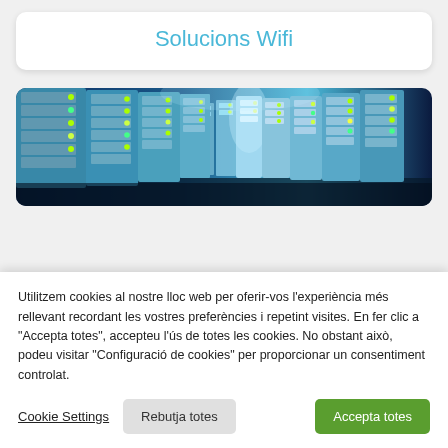Solucions Wifi
[Figure (photo): A row of server rack units with blue LED lighting in a data center, viewed in perspective.]
Utilitzem cookies al nostre lloc web per oferir-vos l'experiència més rellevant recordant les vostres preferències i repetint visites. En fer clic a "Accepta totes", accepteu l'ús de totes les cookies. No obstant això, podeu visitar "Configuració de cookies" per proporcionar un consentiment controlat.
Cookie Settings | Rebutja totes | Accepta totes